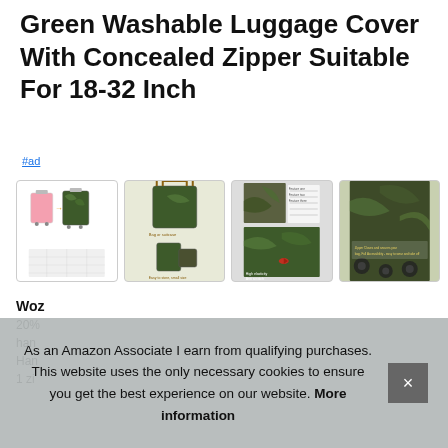Green Washable Luggage Cover With Concealed Zipper Suitable For 18-32 Inch
#ad
[Figure (photo): Four product thumbnail images of a jungle-pattern luggage cover showing different views and product details]
Woz
20% ... han ... Han ... 1 zi
As an Amazon Associate I earn from qualifying purchases. This website uses the only necessary cookies to ensure you get the best experience on our website. More information